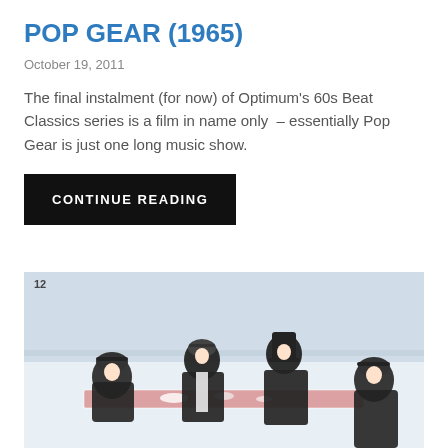POP GEAR (1965)
October 19, 2011
The final instalment (for now) of Optimum's 60s Beat Classics series is a film in name only  – essentially Pop Gear is just one long music show.
CONTINUE READING
[Figure (photo): Black and white / color photograph of four people (resembling The Beatles) dressed in dark coats and hats, seated or standing around a table with food and items on a snowy outdoor setting with a white snowy landscape in the background.]